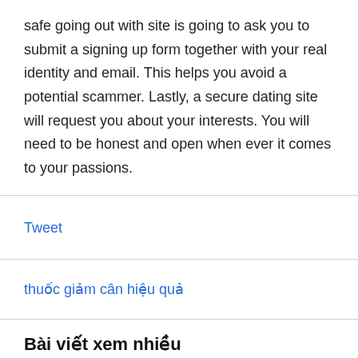safe going out with site is going to ask you to submit a signing up form together with your real identity and email. This helps you avoid a potential scammer. Lastly, a secure dating site will request you about your interests. You will need to be honest and open when ever it comes to your passions.
Tweet
thuốc giảm cân hiệu quả
Bài viết xem nhiều
6 bài tập giảm cân ở tuổi dậy thì thành công, an toàn cho sức khỏe